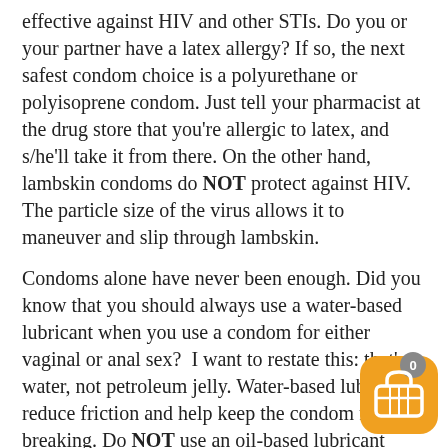effective against HIV and other STIs. Do you or your partner have a latex allergy? If so, the next safest condom choice is a polyurethane or polyisoprene condom. Just tell your pharmacist at the drug store that you're allergic to latex, and s/he'll take it from there. On the other hand, lambskin condoms do NOT protect against HIV. The particle size of the virus allows it to maneuver and slip through lambskin.
Condoms alone have never been enough. Did you know that you should always use a water-based lubricant when you use a condom for either vaginal or anal sex?  I want to restate this: that's water, not petroleum jelly. Water-based lubricants reduce friction and help keep the condom from breaking. Do NOT use an oil-based lubricant (such as petroleum jelly, hand lotion or cooking oil); oil-based lubricants can damage condoms, making them less effective.